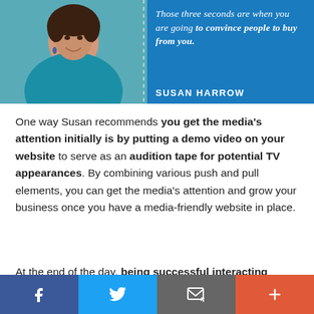[Figure (photo): Quote banner with photo of Susan Harrow (woman in teal blazer, smiling) on the left and a blue background on the right with an italic quote and her name.]
One way Susan recommends you get the media's attention initially is by putting a demo video on your website to serve as an audition tape for potential TV appearances. By combining various push and pull elements, you can get the media's attention and grow your business once you have a media-friendly website in place.
At the end of the day, being successful interacting